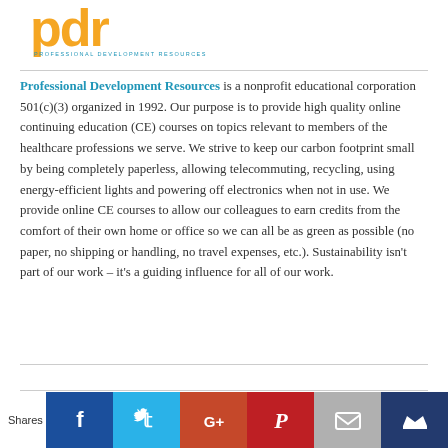[Figure (logo): PDR - Professional Development Resources logo with yellow/orange letters and teal text]
Professional Development Resources is a nonprofit educational corporation 501(c)(3) organized in 1992. Our purpose is to provide high quality online continuing education (CE) courses on topics relevant to members of the healthcare professions we serve. We strive to keep our carbon footprint small by being completely paperless, allowing telecommuting, recycling, using energy-efficient lights and powering off electronics when not in use. We provide online CE courses to allow our colleagues to earn credits from the comfort of their own home or office so we can all be as green as possible (no paper, no shipping or handling, no travel expenses, etc.). Sustainability isn't part of our work – it's a guiding influence for all of our work.
[Figure (infographic): Social share bar with Facebook, Twitter, Google+, Pinterest, Email, and crown icon buttons]